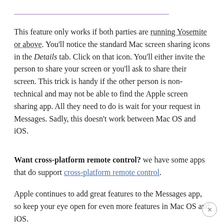This feature only works if both parties are running Yosemite or above. You'll notice the standard Mac screen sharing icons in the Details tab. Click on that icon. You'll either invite the person to share your screen or you'll ask to share their screen. This trick is handy if the other person is non-technical and may not be able to find the Apple screen sharing app. All they need to do is wait for your request in Messages. Sadly, this doesn't work between Mac OS and iOS.
Want cross-platform remote control? we have some apps that do support cross-platform remote control.
Apple continues to add great features to the Messages app, so keep your eye open for even more features in Mac OS and iOS.